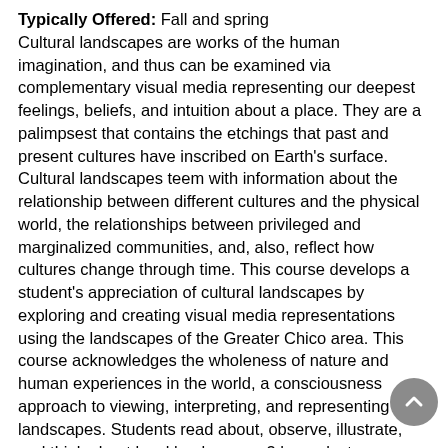Typically Offered: Fall and spring
Cultural landscapes are works of the human imagination, and thus can be examined via complementary visual media representing our deepest feelings, beliefs, and intuition about a place. They are a palimpsest that contains the etchings that past and present cultures have inscribed on Earth's surface. Cultural landscapes teem with information about the relationship between different cultures and the physical world, the relationships between privileged and marginalized communities, and, also, reflect how cultures change through time. This course develops a student's appreciation of cultural landscapes by exploring and creating visual media representations using the landscapes of the Greater Chico area. This course acknowledges the wholeness of nature and human experiences in the world, a consciousness approach to viewing, interpreting, and representing landscapes. Students read about, observe, illustrate, and think about local landscapes. 3 hours lecture.  (022233)